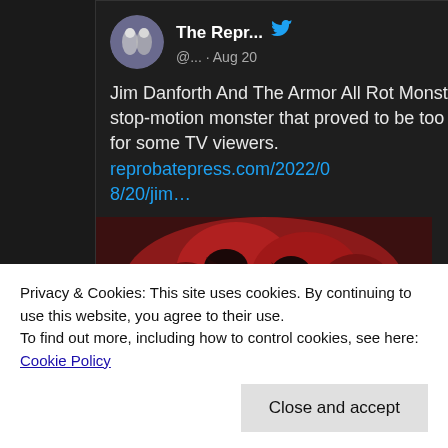[Figure (screenshot): Tweet from @The Repr... (Twitter account) dated Aug 20, showing text about Jim Danforth And The Armor All Rot Monster: a stop-motion monster that proved to be too much for some TV viewers, with a link to reprobatepress.com/2022/08/20/jim... and a close-up image of a reddish monster creature]
Privacy & Cookies: This site uses cookies. By continuing to use this website, you agree to their use.
To find out more, including how to control cookies, see here: Cookie Policy
Close and accept